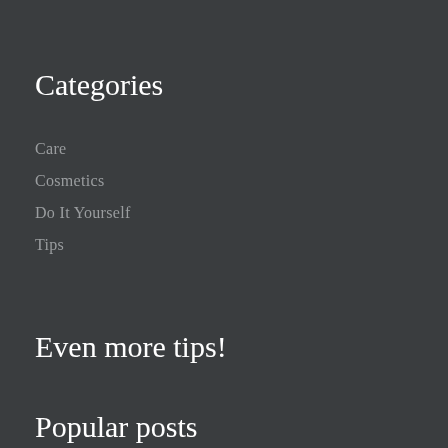Categories
Care
Cosmetics
Do It Yourself
Tips
Even more tips!
Popular posts